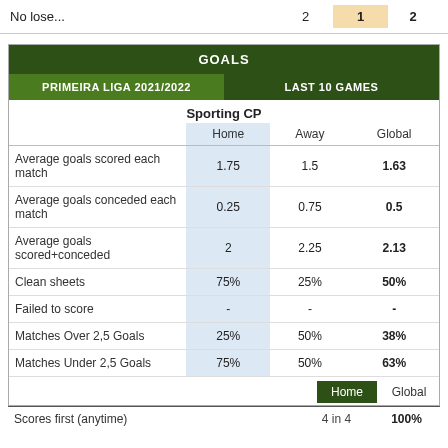| No lose... | 2 | 1 | 2 |
| --- | --- | --- | --- |
GOALS
| PRIMEIRA LIGA 2021/2022 | LAST 10 GAMES |
| --- | --- |
|  | Home | Away | Global |
| Average goals scored each match | 1.75 | 1.5 | 1.63 |
| Average goals conceded each match | 0.25 | 0.75 | 0.5 |
| Average goals scored+conceded | 2 | 2.25 | 2.13 |
| Clean sheets | 75% | 25% | 50% |
| Failed to score | - | - | - |
| Matches Over 2,5 Goals | 25% | 50% | 38% |
| Matches Under 2,5 Goals | 75% | 50% | 63% |
|  | Home | Global |
| --- | --- | --- |
| Scores first (anytime) | 4 in 4 | 100% |